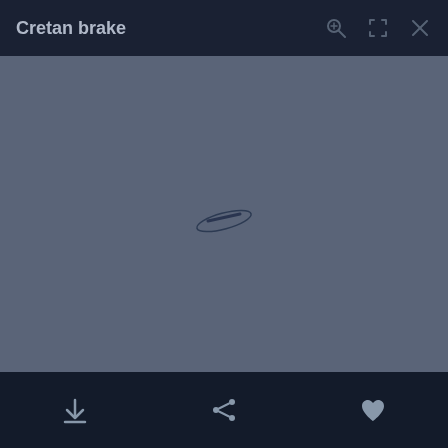Cretan brake
[Figure (map): A dark blue-grey map view showing a small landmass (island outline) in the center on a muted blue-grey background, representing a geographic location for Cretan brake.]
Download, Share, Favorite icons